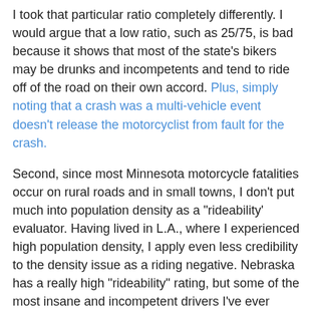I took that particular ratio completely differently. I would argue that a low ratio, such as 25/75, is bad because it shows that most of the state's bikers may be drunks and incompetents and tend to ride off of the road on their own accord. Plus, simply noting that a crash was a multi-vehicle event doesn't release the motorcyclist from fault for the crash.
Second, since most Minnesota motorcycle fatalities occur on rural roads and in small towns, I don't put much into population density as a "rideability' evaluator. Having lived in L.A., where I experienced high population density, I apply even less credibility to the density issue as a riding negative. Nebraska has a really high "rideability" rating, but some of the most insane and incompetent drivers I've ever witnessed were in that state. Driver competence is more important than population density.
I do agree with the inverse connection between rideability and law enforcement population. However, Iowa's 5th place (lower numbers are better) in law enforcement population does not reflect my Iowa experiences. As best I can tell